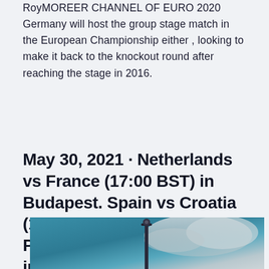RoyMOREER CHANNEL OF EURO 2020 Germany will host the group stage match in the European Championship either , looking to make it back to the knockout round after reaching the stage in 2016.
May 30, 2021 · Netherlands vs France (17:00 BST) in Budapest. Spain vs Croatia (17:00 BST) in Maribor. Portugal vs Italy (20:00 BST) in Ljubljana. Denmark vs Germany (20:00 BST) in Szekesfehervar. Semi-finals: 3
[Figure (photo): Partial photo of a lamppost or street light against a teal/grey cloudy sky]